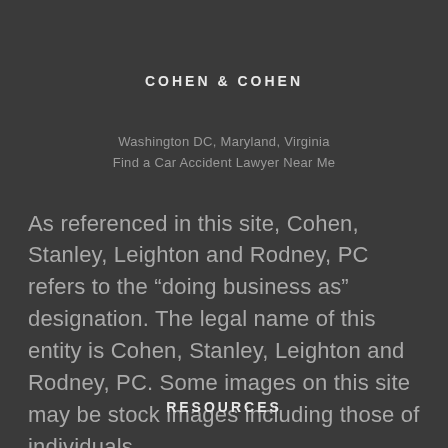COHEN & COHEN
Washington DC, Maryland, Virginia
Find a Car Accident Lawyer Near Me
As referenced in this site, Cohen, Stanley, Leighton and Rodney, PC refers to the “doing business as” designation. The legal name of this entity is Cohen, Stanley, Leighton and Rodney, PC. Some images on this site may be stock images including those of individuals.
RESOURCES